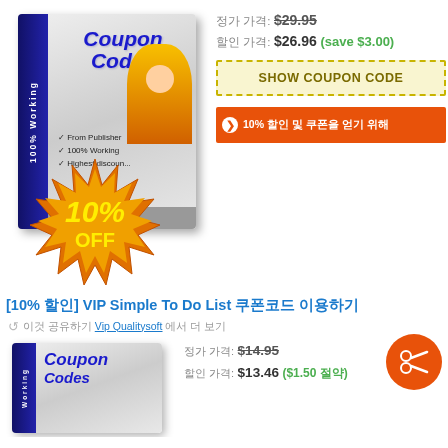[Figure (illustration): Product box with 'Coupon Codes' text, 100% Working label on spine, checkmarks listing 'From Publisher', '100% Working', 'Highest discount', woman with headset, and orange starburst badge showing 10% OFF]
정가 가격: $29.95
할인 가격: $26.96 (save $3.00)
SHOW COUPON CODE
❯ 10% 할인 및 쿠폰을 얻기 위해
[10% 할인] VIP Simple To Do List 쿠폰코드 이용하기
↺ 이것 공유하기 Vip Qualitysoft 에서 더 보기
[Figure (illustration): Partial product box showing 'Coupon Codes' text and spine with working label]
정가 가격: $14.95
할인 가격: $13.46 ($1.50 절약)